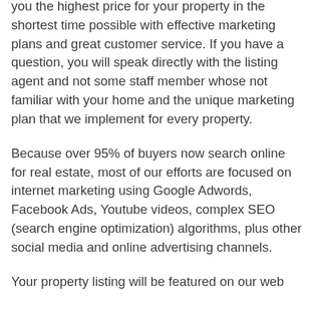you the highest price for your property in the shortest time possible with effective marketing plans and great customer service. If you have a question, you will speak directly with the listing agent and not some staff member whose not familiar with your home and the unique marketing plan that we implement for every property.
Because over 95% of buyers now search online for real estate, most of our efforts are focused on internet marketing using Google Adwords, Facebook Ads, Youtube videos, complex SEO (search engine optimization) algorithms, plus other social media and online advertising channels.
Your property listing will be featured on our web